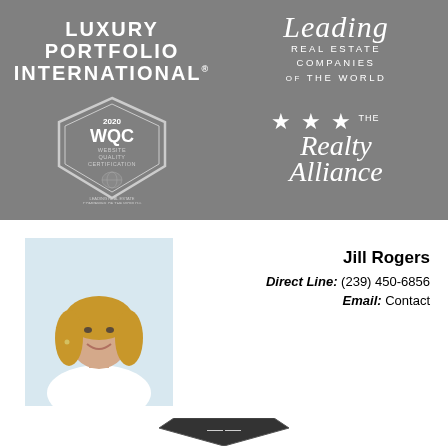[Figure (logo): Luxury Portfolio International logo in white text on gray background]
[Figure (logo): Leading Real Estate Companies of the World logo in white italic script and text on gray background]
[Figure (logo): 2020 WQC Website Quality Certification badge with globe graphic, Leading Real Estate Companies of the World]
[Figure (logo): The Realty Alliance logo with three stars in white on gray background]
[Figure (photo): Professional headshot of Jill Rogers, a woman with blonde hair wearing a white top]
Jill Rogers
Direct Line: (239) 450-6856
Email: Contact
[Figure (logo): Partial logo visible at bottom of page, appears to be a real estate company badge/shield shape]